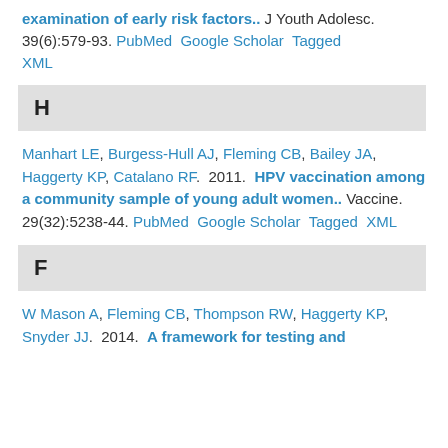examination of early risk factors.. J Youth Adolesc. 39(6):579-93. PubMed Google Scholar Tagged XML
H
Manhart LE, Burgess-Hull AJ, Fleming CB, Bailey JA, Haggerty KP, Catalano RF.  2011.  HPV vaccination among a community sample of young adult women..  Vaccine. 29(32):5238-44. PubMed Google Scholar Tagged XML
F
W Mason A, Fleming CB, Thompson RW, Haggerty KP, Snyder JJ.  2014.  A framework for testing and...